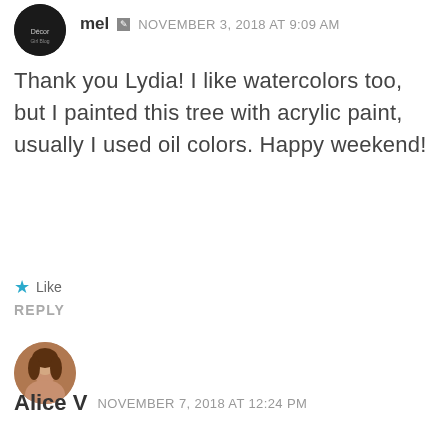[Figure (photo): Circular avatar photo of user mel, dark/black background with text logo]
mel  NOVEMBER 3, 2018 AT 9:09 AM
Thank you Lydia! I like watercolors too, but I painted this tree with acrylic paint, usually I used oil colors. Happy weekend!
★ Like
REPLY
[Figure (photo): Circular avatar photo of user Alice V, woman with brown hair]
Alice V  NOVEMBER 7, 2018 AT 12:24 PM